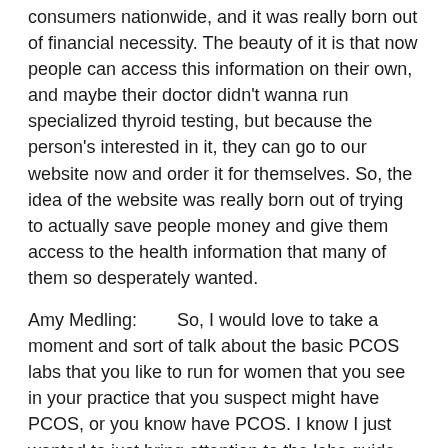consumers nationwide, and it was really born out of financial necessity. The beauty of it is that now people can access this information on their own, and maybe their doctor didn't wanna run specialized thyroid testing, but because the person's interested in it, they can go to our website now and order it for themselves. So, the idea of the website was really born out of trying to actually save people money and give them access to the health information that many of them so desperately wanted.
Amy Medling:        So, I would love to take a moment and sort of talk about the basic PCOS labs that you like to run for women that you see in your practice that you suspect might have PCOS, or you know have PCOS. I know I just wanted to just bring attention to the labs guide that I've put out. It's available on my website. It's a free download. I have a list of labs that I like to see done for women with PCOS, but I'd love to hear what labs you like.